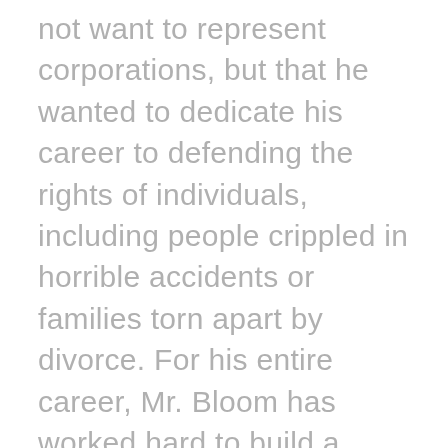not want to represent corporations, but that he wanted to dedicate his career to defending the rights of individuals, including people crippled in horrible accidents or families torn apart by divorce. For his entire career, Mr. Bloom has worked hard to build a reputation as an attorney who will fight for the rights of his clients whether battling a manipulative spouse or an unsympathetic corporation. Mr. Bloom is an active member of the National and New Jersey Associations for Justice where he is a contributing member of the Justice Resource